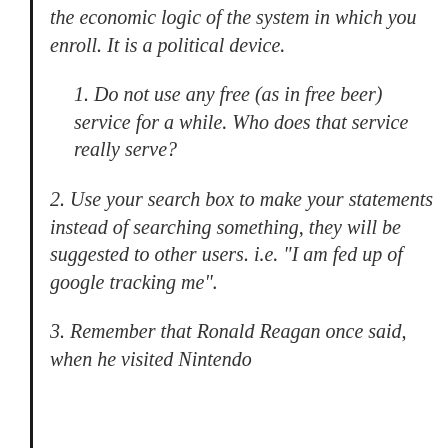the economic logic of the system in which you enroll. It is a political device.
1. Do not use any free (as in free beer) service for a while. Who does that service really serve?
2. Use your search box to make your statements instead of searching something, they will be suggested to other users. i.e. "I am fed up of google tracking me".
3. Remember that Ronald Reagan once said, when he visited Nintendo